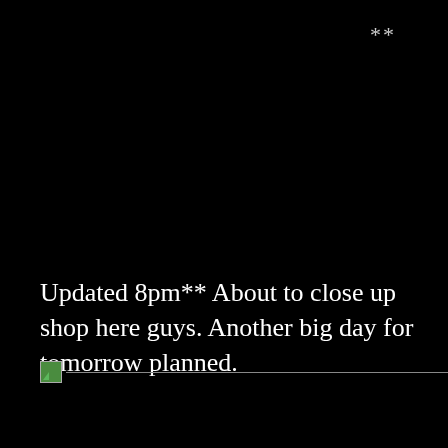**
Updated 8pm** About to close up shop here guys. Another big day for tomorrow planned.
[Figure (other): Broken image placeholder with green icon and horizontal line]